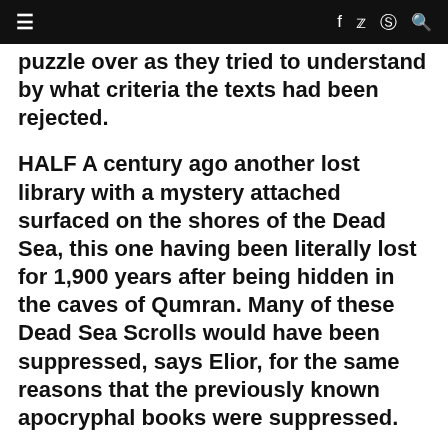≡  f  🐦  ◎  🔍
puzzle over as they tried to understand by what criteria the texts had been rejected.
HALF A century ago another lost library with a mystery attached surfaced on the shores of the Dead Sea, this one having been literally lost for 1,900 years after being hidden in the caves of Qumran. Many of these Dead Sea Scrolls would have been suppressed, says Elior, for the same reasons that the previously known apocryphal books were suppressed.
In her recently published (Hebrew) book, Memory and Oblivion – The Mystery of the Dead Sea Scrolls, she offers a bold new...